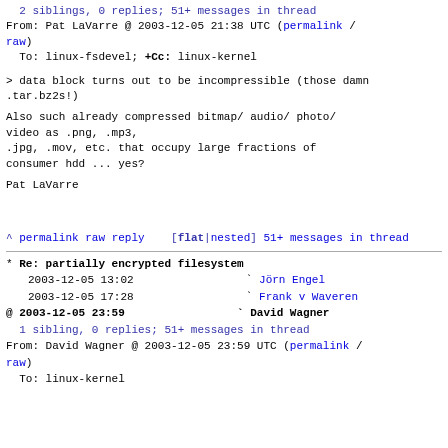2 siblings, 0 replies; 51+ messages in thread
From: Pat LaVarre @ 2003-12-05 21:38 UTC (permalink / raw)
To: linux-fsdevel; +Cc: linux-kernel
> data block turns out to be incompressible (those damn .tar.bz2s!)
Also such already compressed bitmap/ audio/ photo/ video as .png, .mp3, .jpg, .mov, etc. that occupy large fractions of consumer hdd ... yes?
Pat LaVarre
^ permalink raw reply   [flat|nested] 51+ messages in thread
* Re: partially encrypted filesystem
  2003-12-05 13:02   ` Jörn Engel
  2003-12-05 17:28   ` Frank v Waveren
@ 2003-12-05 23:59   ` David Wagner
  1 sibling, 0 replies; 51+ messages in thread
From: David Wagner @ 2003-12-05 23:59 UTC (permalink / raw)
  To: linux-kernel